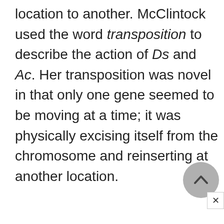location to another. McClintock used the word transposition to describe the action of Ds and Ac. Her transposition was novel in that only one gene seemed to be moving at a time; it was physically excising itself from the chromosome and reinserting at another location.